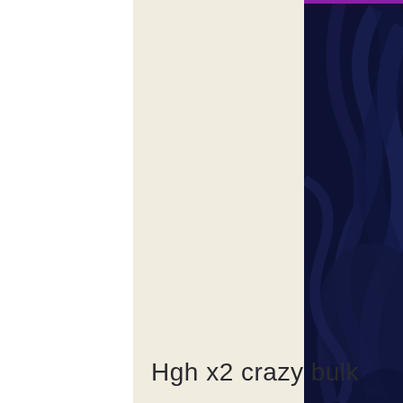[Figure (photo): A split layout page with a cream/off-white center panel and a dark navy blue panel on the right side containing abstract dark shapes (possibly chairs or furniture). A thin purple accent strip is at the top right. The left portion is white.]
Hgh x2 crazy bulk